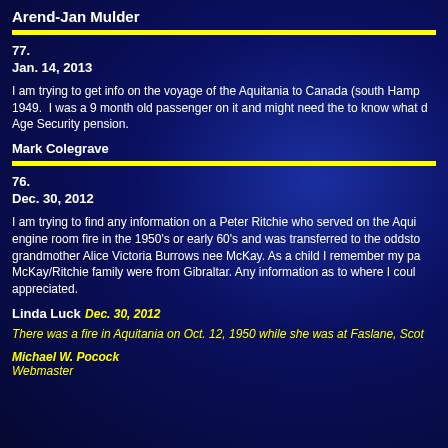Arend-Jan Mulder
77.
Jan. 14, 2013
I am trying to get info on the voyage of the Aquitania to Canada (south Hamp 1949. I was a 9 month old passenger on it and might need the to know what d Age Security pension.
Mark Colegrave
76.
Dec. 30, 2012
I am trying to find any information on a Peter Ritchie who served on the Aqui engine room fire in the 1950's or early 60's and was transferred to the oddsto grandmother Alice Victoria Burrows nee McKay. As a child I remember my pa McKay/Ritchie family were from Gibraltar. Any information as to where I coul appreciated.
Linda Luck
Dec. 30, 2012
There was a fire in Aquitania on Oct. 12, 1950 while she was at Faslane, Scot
Michael W. Pocock
Webmaster